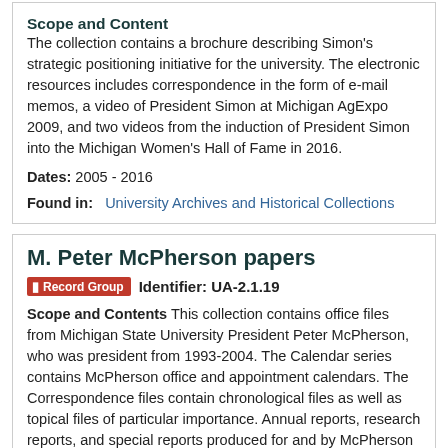Scope and Content
The collection contains a brochure describing Simon's strategic positioning initiative for the university. The electronic resources includes correspondence in the form of e-mail memos, a video of President Simon at Michigan AgExpo 2009, and two videos from the induction of President Simon into the Michigan Women's Hall of Fame in 2016.
Dates: 2005 - 2016
Found in:   University Archives and Historical Collections
M. Peter McPherson papers
Record Group   Identifier: UA-2.1.19
Scope and Contents This collection contains office files from Michigan State University President Peter McPherson, who was president from 1993-2004. The Calendar series contains McPherson office and appointment calendars. The Correspondence files contain chronological files as well as topical files of particular importance. Annual reports, research reports, and special reports produced for and by McPherson are in the Reports